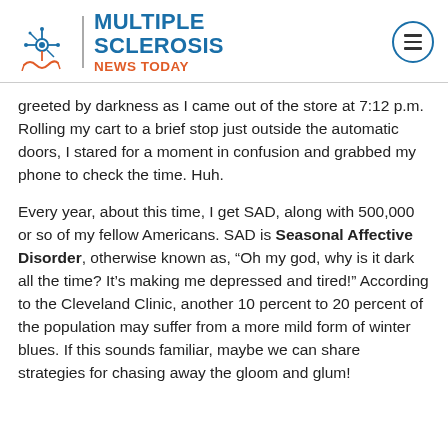Multiple Sclerosis News Today
greeted by darkness as I came out of the store at 7:12 p.m. Rolling my cart to a brief stop just outside the automatic doors, I stared for a moment in confusion and grabbed my phone to check the time. Huh.
Every year, about this time, I get SAD, along with 500,000 or so of my fellow Americans. SAD is Seasonal Affective Disorder, otherwise known as, “Oh my god, why is it dark all the time? It’s making me depressed and tired!” According to the Cleveland Clinic, another 10 percent to 20 percent of the population may suffer from a more mild form of winter blues. If this sounds familiar, maybe we can share strategies for chasing away the gloom and glum!